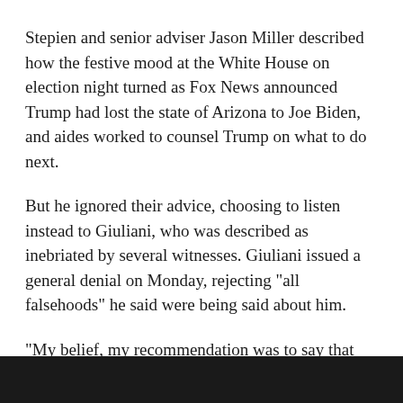Stepien and senior adviser Jason Miller described how the festive mood at the White House on election night turned as Fox News announced Trump had lost the state of Arizona to Joe Biden, and aides worked to counsel Trump on what to do next.
But he ignored their advice, choosing to listen instead to Giuliani, who was described as inebriated by several witnesses. Giuliani issued a general denial on Monday, rejecting "all falsehoods" he said were being said about him.
"My belief, my recommendation was to say that votes were still being counted, it's too early to tell,